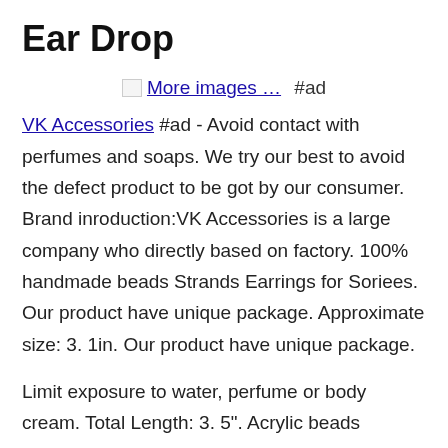Ear Drop
[Figure (other): Broken image placeholder for 'More images ...' with #ad label]
VK Accessories #ad - Avoid contact with perfumes and soaps. We try our best to avoid the defect product to be got by our consumer. Brand inroduction:VK Accessories is a large company who directly based on factory. 100% handmade beads Strands Earrings for Soriees. Our product have unique package. Approximate size: 3. 1in. Our product have unique package.
Limit exposure to water, perfume or body cream. Total Length: 3. 5". Acrylic beads strands are all handcraft